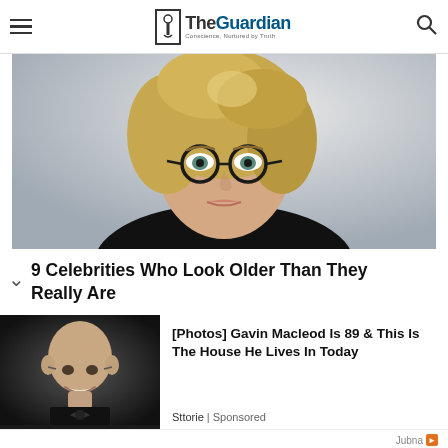The Guardian — Conscience, Nurtured by Truth
[Figure (photo): Glamour portrait of a young blonde woman wearing round dark-framed glasses, styled hair, and a dark top, against a light background.]
9 Celebrities Who Look Older Than They Really Are
[Figure (photo): Portrait photo of an older bald man with glasses, smiling, wearing a tuxedo with bow tie, at a formal event.]
[Photos] Gavin Macleod Is 89 & This Is The House He Lives In Today
Sttorie | Sponsored
Jubna